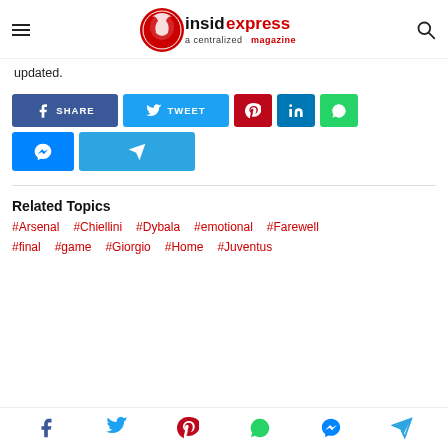insidexpress — a centralized magazine
updated.
[Figure (other): Social sharing buttons: Share (Facebook), Tweet (Twitter), Pinterest, LinkedIn, WhatsApp, Messenger, Telegram]
Related Topics
#Arsenal
#Chiellini
#Dybala
#emotional
#Farewell
#final
#game
#Giorgio
#Home
#Juventus
Social icons: Facebook, Twitter, Pinterest, WhatsApp, Messenger, Telegram